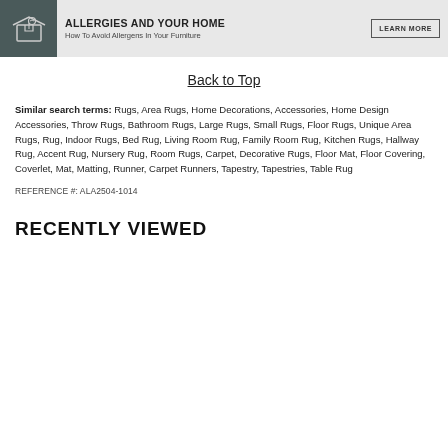[Figure (other): Banner with dark icon showing a box with a hand, title 'ALLERGIES AND YOUR HOME', subtitle 'How To Avoid Allergens In Your Furniture', and a 'LEARN MORE' button]
Back to Top
Similar search terms: Rugs, Area Rugs, Home Decorations, Accessories, Home Design Accessories, Throw Rugs, Bathroom Rugs, Large Rugs, Small Rugs, Floor Rugs, Unique Area Rugs, Rug, Indoor Rugs, Bed Rug, Living Room Rug, Family Room Rug, Kitchen Rugs, Hallway Rug, Accent Rug, Nursery Rug, Room Rugs, Carpet, Decorative Rugs, Floor Mat, Floor Covering, Coverlet, Mat, Matting, Runner, Carpet Runners, Tapestry, Tapestries, Table Rug
REFERENCE #: ALA2504-1014
RECENTLY VIEWED